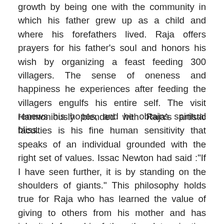growth by being one with the community in which his father grew up as a child and where his forefathers lived. Raja offers prayers for his father's soul and honors his wish by organizing a feast feeding 300 villagers. The sense of oneness and happiness he experiences after feeding the villagers engulfs his entire self. The visit renews his hopes, and he obtains spiritual bliss.
Harmoniously blended with Raja's artistic faculties is his fine human sensitivity that speaks of an individual grounded with the right set of values. Issac Newton had said :"If I have seen further, it is by standing on the shoulders of giants." This philosophy holds true for Raja who has learned the value of giving to others from his mother and has inherited from his father the determination and undying will to achieve the goal when he believes in something. So what does he have to say about acting and life in general? Raja speaks out